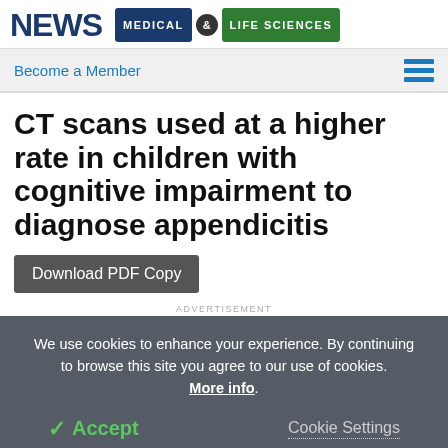NEWS MEDICAL & LIFE SCIENCES
Become a Member
CT scans used at a higher rate in children with cognitive impairment to diagnose appendicitis
Download PDF Copy
ADVERTISEMENT
We use cookies to enhance your experience. By continuing to browse this site you agree to our use of cookies. More info.
Accept
Cookie Settings